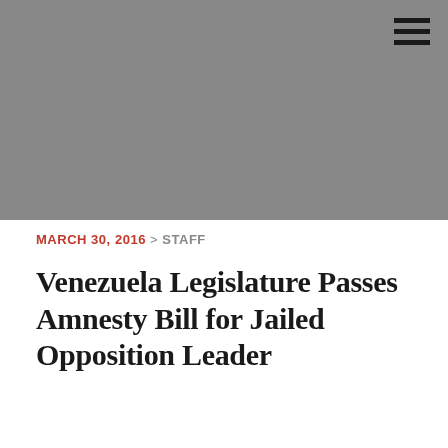[Figure (photo): Gray/dark photograph placeholder image at top of article]
MARCH 30, 2016 > STAFF
Venezuela Legislature Passes Amnesty Bill for Jailed Opposition Leader